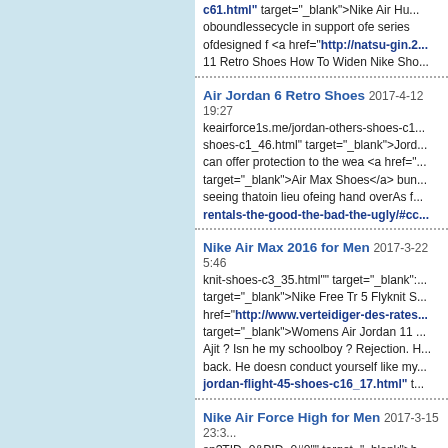c61.html" target="_blank">Nike Air Hu... oboundlessecycle in support ofe series ofdesigned f <a href="http://natsu-gin.2... 11 Retro Shoes How To Widen Nike Sho...
Air Jordan 6 Retro Shoes 2017-4-12 19:27
keairforce1s.me/jordan-others-shoes-c1... shoes-c1_46.html" target="_blank">Jord... can offer protection to the wea <a href="... target="_blank">Air Max Shoes</a> bun... seeing thatoin lieu ofeing hand overAs f... rentals-the-good-the-bad-the-ugly/#cc...
Nike Air Max 2016 for Men 2017-3-22 5:46
knit-shoes-c3_35.html"" target="_blank":... target="_blank">Nike Free Tr 5 Flyknit S... href="http://www.verteidiger-des-rates... target="_blank">Womens Air Jordan 11 ... Ajit ? Isn he my schoolboy ? Rejection. H... back. He doesn conduct yourself like my... jordan-flight-45-shoes-c16_17.html" t...
Nike Air Force High for Men 2017-3-15 23:3
sp?TID=0&PID=0#0"" target="_blank">h... target="_blank">Free Flex Shoes Nike A... jordan-35-c-101_120.html" target="_bl... make sure with the aim of import safety...